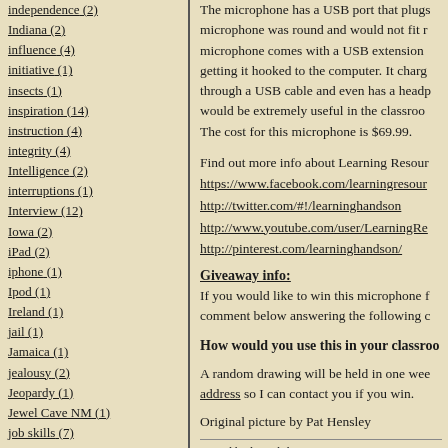independence (2)
Indiana (2)
influence (4)
initiative (1)
insects (1)
inspiration (14)
instruction (4)
integrity (4)
Intelligence (2)
interruptions (1)
Interview (12)
Iowa (2)
iPad (2)
iphone (1)
Ipod (1)
Ireland (1)
jail (1)
Jamaica (1)
jealousy (2)
Jeopardy (1)
Jewel Cave NM (1)
job skills (7)
joke (1)
Jones Gap (1)
journal (3)
journey (1)
joy (8)
judging (8)
Kansas (1)
The microphone has a USB port that plugs... microphone was round and would not fit... microphone comes with a USB extension getting it hooked to the computer. It charg... through a USB cable and even has a headp... would be extremely useful in the classroo... The cost for this microphone is $69.99.
Find out more info about Learning Resour... https://www.facebook.com/learningresour... http://twitter.com/#!/learninghandson http://www.youtube.com/user/LearningRe... http://pinterest.com/learninghandson/
Giveaway info:
If you would like to win this microphone f... comment below answering the following c...
How would you use this in your classroo...
A random drawing will be held in one wee... address so I can contact you if you win.
Original picture by Pat Hensley
Posted by loonyhiker at 6:00 AM   6 comments
Labels: EasiSpeak , Giveaway , ProductReview